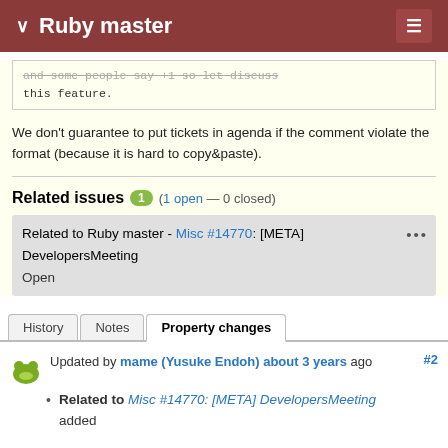Ruby master
and some people say +1 so let discuss this feature.
We don't guarantee to put tickets in agenda if the comment violate the format (because it is hard to copy&paste).
Related issues 1 (1 open — 0 closed)
Related to Ruby master - Misc #14770: [META] DevelopersMeeting
Open
History | Notes | Property changes
Updated by mame (Yusuke Endoh) about 3 years ago #2
Related to Misc #14770: [META] DevelopersMeeting added